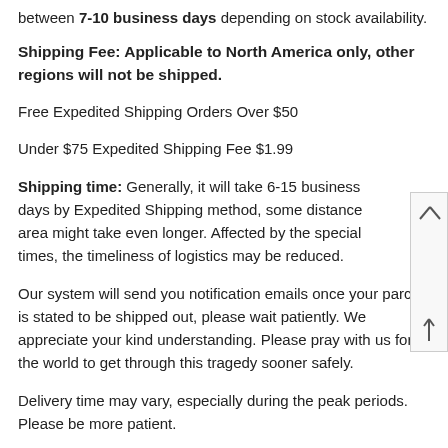between 7-10 business days depending on stock availability.
Shipping Fee: Applicable to North America only, other regions will not be shipped.
Free Expedited Shipping Orders Over $50
Under $75 Expedited Shipping Fee $1.99
Shipping time: Generally, it will take 6-15 business days by Expedited Shipping method, some distance area might take even longer. Affected by the special times, the timeliness of logistics may be reduced.
Our system will send you notification emails once your parcel is stated to be shipped out, please wait patiently. We appreciate your kind understanding. Please pray with us for the world to get through this tragedy sooner safely.
Delivery time may vary, especially during the peak periods. Please be more patient.